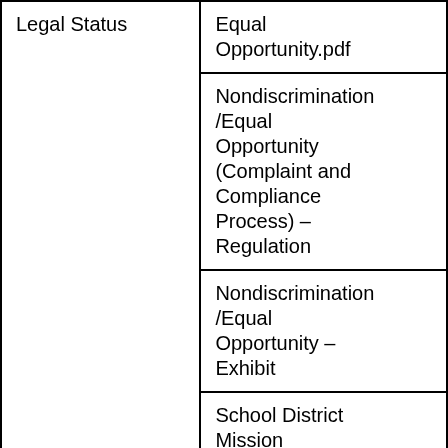| Legal Status |  |
| --- | --- |
|  | Equal
Opportunity.pdf |
|  | Nondiscrimination
/Equal
Opportunity
(Complaint and
Compliance
Process) –
Regulation |
|  | Nondiscrimination
/Equal
Opportunity  –
Exhibit |
|  | School District
Mission |